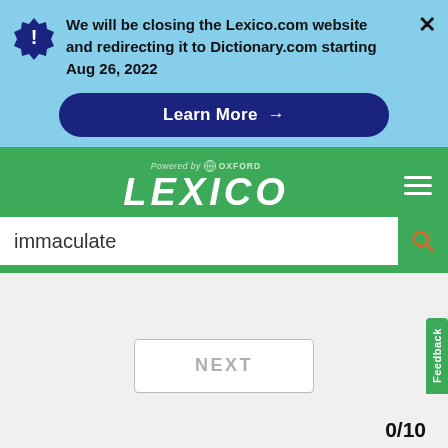We will be closing the Lexico.com website and redirecting it to Dictionary.com starting Aug 26, 2022
Learn More →
[Figure (logo): Lexico powered by Oxford logo on green background]
immaculate
NEXT
0/10